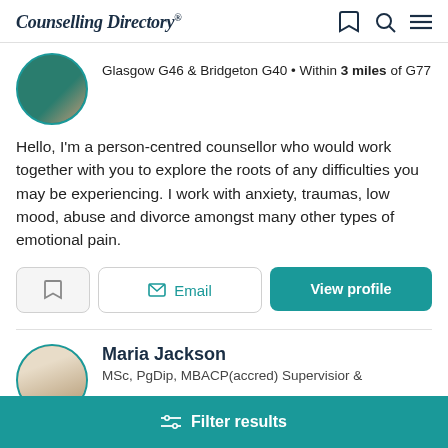Counselling Directory
Glasgow G46 & Bridgeton G40 • Within 3 miles of G77
Hello, I'm a person-centred counsellor who would work together with you to explore the roots of any difficulties you may be experiencing. I work with anxiety, traumas, low mood, abuse and divorce amongst many other types of emotional pain.
Maria Jackson
MSc, PgDip, MBACP(accred) Supervisior &
Filter results